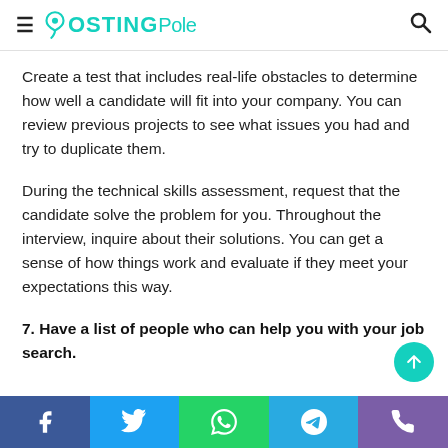PostingPole
Create a test that includes real-life obstacles to determine how well a candidate will fit into your company. You can review previous projects to see what issues you had and try to duplicate them.
During the technical skills assessment, request that the candidate solve the problem for you. Throughout the interview, inquire about their solutions. You can get a sense of how things work and evaluate if they meet your expectations this way.
7. Have a list of people who can help you with your job search.
Social share bar: Facebook, Twitter, WhatsApp, Telegram, Phone